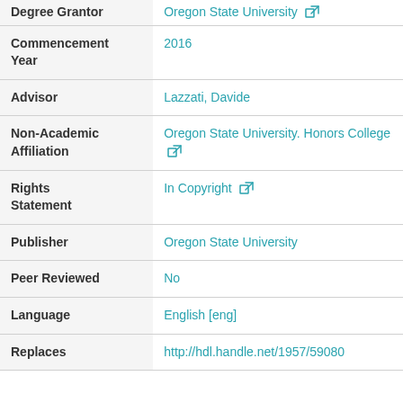| Field | Value |
| --- | --- |
| Degree Grantor | Oregon State University [external link] |
| Commencement Year | 2016 |
| Advisor | Lazzati, Davide |
| Non-Academic Affiliation | Oregon State University. Honors College [external link] |
| Rights Statement | In Copyright [external link] |
| Publisher | Oregon State University |
| Peer Reviewed | No |
| Language | English [eng] |
| Replaces | http://hdl.handle.net/1957/59080 |